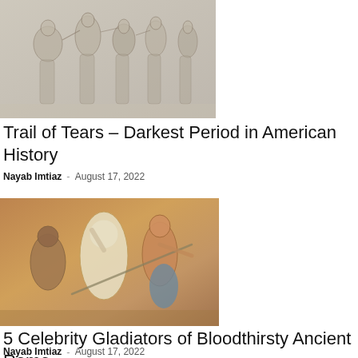[Figure (illustration): Pencil sketch illustration of multiple human figures, historical scene related to Trail of Tears]
Trail of Tears – Darkest Period in American History
Nayab Imtiaz · August 17, 2022
[Figure (photo): Ancient Roman mosaic depicting gladiators fighting, colorful mosaic artwork with figures in combat]
5 Celebrity Gladiators of Bloodthirsty Ancient Rome
Nayab Imtiaz · August 17, 2022